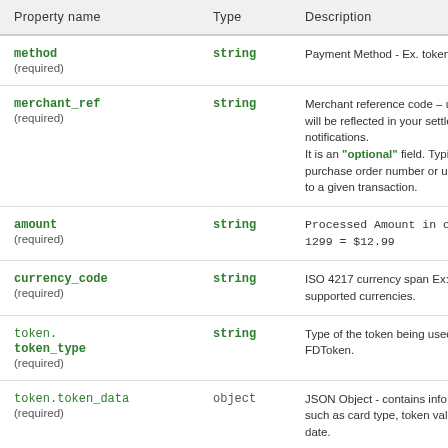| Property name | Type | Description |
| --- | --- | --- |
| method
(required) | string | Payment Method - Ex. token |
| merchant_ref
(required) | string | Merchant reference code – use
will be reflected in your settlem
notifications.
It is an "optional" field. Typicall
purchase order number or uni
to a given transaction. |
| amount
(required) | string | Processed Amount in cents.
1299 = $12.99 |
| currency_code
(required) | string | ISO 4217 currency span Ex: USD
supported currencies. |
| token.
token_type
(required) | string | Type of the token being used f
FDToken. |
| token.token_data
(required) | object | JSON Object - contains info re
such as card type, token value
date. |
| token.token_data. | string | Credit Card Type; Values – "A |